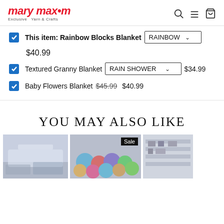mary maxim — Exclusive Yarn & Crafts
This item: Rainbow Blocks Blanket — RAINBOW — $40.99
Textured Granny Blanket — RAIN SHOWER — $34.99
Baby Flowers Blanket — $45.99 (strikethrough) $40.99
YOU MAY ALSO LIKE
[Figure (photo): Three product thumbnail images in a row below the 'You May Also Like' section header. Left: a blueish-gray blanket on a sofa in a living room. Middle: a large collection of colorful yarn balls in various colors. Right: partially visible photo of a room with shelves. The middle image has a 'Sale' badge.]